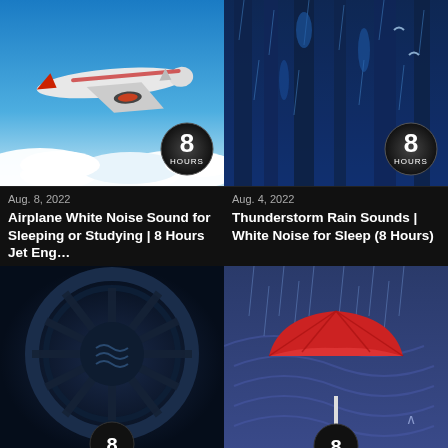[Figure (screenshot): Thumbnail of airplane in blue sky with white clouds, '8 HOURS' badge]
[Figure (screenshot): Thumbnail of dark rainy forest scene with blue tones, '8 HOURS' badge]
Aug. 8, 2022
Airplane White Noise Sound for Sleeping or Studying | 8 Hours Jet Eng…
Aug. 4, 2022
Thunderstorm Rain Sounds | White Noise for Sleep (8 Hours)
[Figure (screenshot): Thumbnail of dark fan/turbine close-up with blue tones, '8' badge visible at bottom]
[Figure (screenshot): Thumbnail of red umbrella in rain with swirling wind illustration, '8' badge visible at bottom]